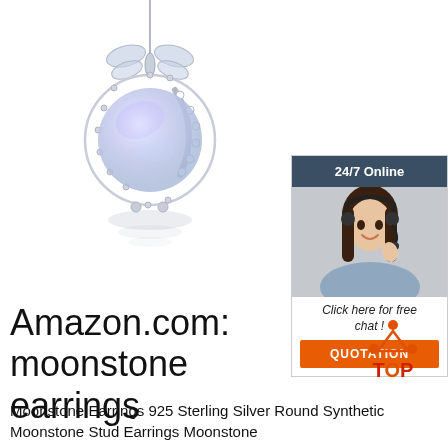[Figure (photo): Silver dragonfly moonstone pendant necklace on white background with reflection]
[Figure (infographic): 24/7 Online chat widget with female customer service agent wearing headset, 'Click here for free chat!' text and orange QUOTATION button]
Amazon.com: moonstone earrings
Moonstone Earrings 925 Sterling Silver Round Synthetic Moonstone Stud Earrings Moonstone
[Figure (logo): TOP badge with orange dots forming triangle above red TOP text]